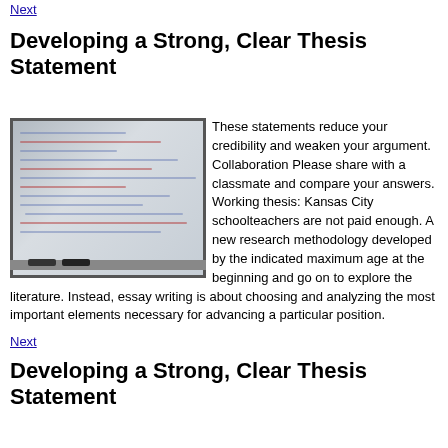Next
Developing a Strong, Clear Thesis Statement
[Figure (photo): A photograph of a whiteboard with handwritten text about thesis statements and examples]
These statements reduce your credibility and weaken your argument. Collaboration Please share with a classmate and compare your answers. Working thesis: Kansas City schoolteachers are not paid enough. A new research methodology developed by the indicated maximum age at the beginning and go on to explore the literature. Instead, essay writing is about choosing and analyzing the most important elements necessary for advancing a particular position.
Next
Developing a Strong, Clear Thesis Statement